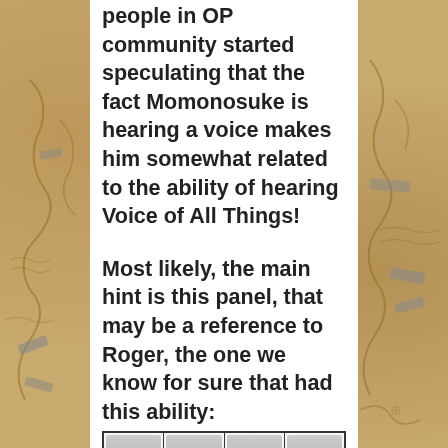people in OP community started speculating that the fact Momonosuke is hearing a voice makes him somewhat related to the ability of hearing Voice of All Things!
Most likely, the main hint is this panel, that may be a reference to Roger, the one we know for sure that had this ability:
[Figure (illustration): Four manga panels showing characters speaking. Panel 1: 'INDEED, I TOO REMEMBER HIM.' Panel 2: 'THERE WAS ANOTHER WHO GOT ALONG THE SAME.' Panel 3: 'HE REALLY IS LIKE HIS HIGHNESS.' Panel 4: 'THE CLOSER WE GET TO THE WHALE, THE MORE I CAN HEAR THIS']